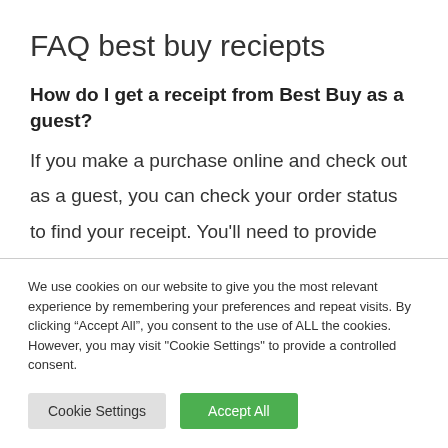FAQ best buy reciepts
How do I get a receipt from Best Buy as a guest?
If you make a purchase online and check out as a guest, you can check your order status to find your receipt. You'll need to provide
We use cookies on our website to give you the most relevant experience by remembering your preferences and repeat visits. By clicking “Accept All”, you consent to the use of ALL the cookies. However, you may visit "Cookie Settings" to provide a controlled consent.
Cookie Settings | Accept All